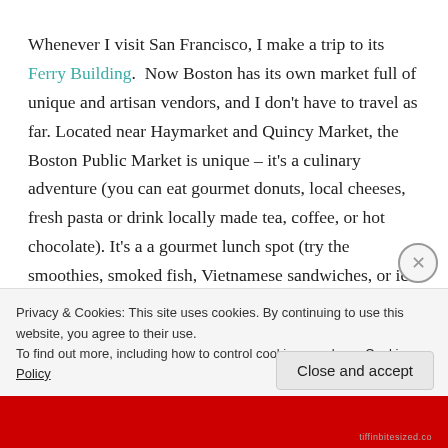Whenever I visit San Francisco, I make a trip to its Ferry Building.  Now Boston has its own market full of unique and artisan vendors, and I don't have to travel as far. Located near Haymarket and Quincy Market, the Boston Public Market is unique – it's a culinary adventure (you can eat gourmet donuts, local cheeses,  fresh pasta or drink locally made tea, coffee, or hot chocolate). It's a a gourmet lunch spot (try the smoothies, smoked fish, Vietnamese sandwiches, or ice cream). It's a wedding and hostess gift go-to (buy wine, jams, cutting boards made from stone, and bowls turned
Privacy & Cookies: This site uses cookies. By continuing to use this website, you agree to their use.
To find out more, including how to control cookies, see here: Cookie Policy
Close and accept